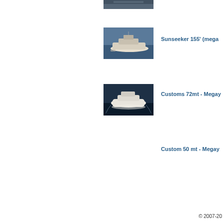[Figure (photo): Partial yacht photo cropped at top of page]
[Figure (photo): Sunseeker 155 megayacht on water, aerial view]
Sunseeker 155' (mega...
[Figure (photo): Customs 72mt Megayacht on dark blue water, aerial view]
Customs 72mt - Megay...
Custom 50 mt - Megay...
© 2007-20...